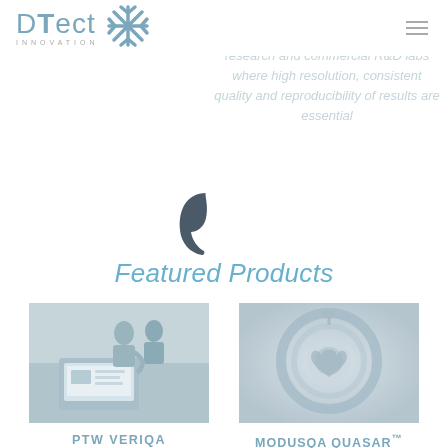DTect INNOVATION
research and commercial R&D labs where high resolution, consistent quality and reproducibility of results are essential
[Figure (illustration): Decorative large quotation mark / comma in dark slate color]
Featured Products
[Figure (photo): Two people collaborating at a laptop computer in a lab or office setting, shown in muted blue-grey tones]
PTW VERIQA
[Figure (photo): ModusQA QUASAR circular phantom device photographed with blue-grey tones]
ModusQA QUASAR™